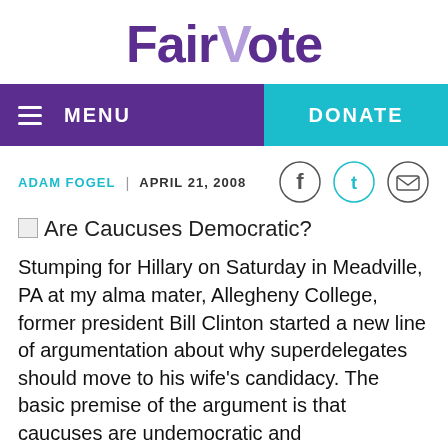[Figure (logo): FairVote logo with purple text and lighter purple V accent]
MENU | DONATE
ADAM FOGEL | APRIL 21, 2008
Are Caucuses Democratic?
Stumping for Hillary on Saturday in Meadville, PA at my alma mater, Allegheny College, former president Bill Clinton started a new line of argumentation about why superdelegates should move to his wife's candidacy. The basic premise of the argument is that caucuses are undemocratic and unrepresentative. He claims that a delegate at the Democratic National